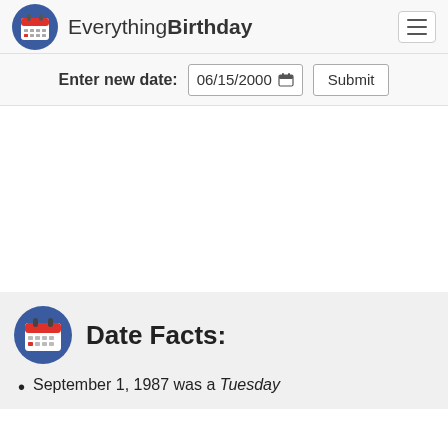Everything Birthday
Enter new date: 06/15/2000  Submit
Date Facts:
September 1, 1987 was a Tuesday